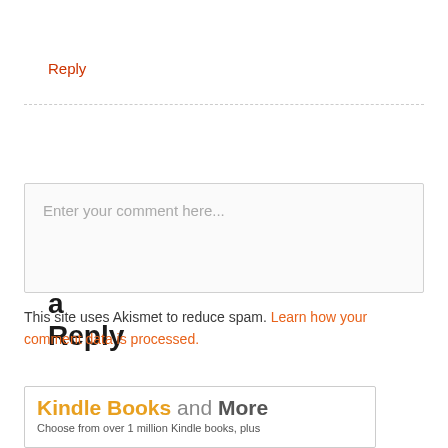Reply
Leave a Reply
Enter your comment here...
This site uses Akismet to reduce spam. Learn how your comment data is processed.
[Figure (other): Amazon Kindle Books and More advertisement banner. Text: 'Kindle Books and More — Choose from over 1 million Kindle books, plus']